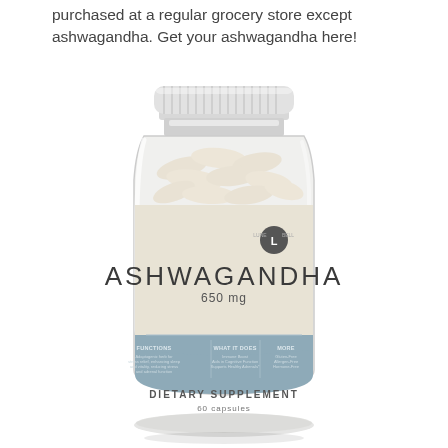purchased at a regular grocery store except ashwagandha. Get your ashwagandha here!
[Figure (photo): A clear plastic supplement bottle with a white ribbed cap containing capsules. The label reads ASHWAGANDHA 650 mg, with a muted beige upper label and a muted steel-blue lower band. The lower band contains small text columns about functions/benefits/more and reads DIETARY SUPPLEMENT 60 capsules at the bottom.]